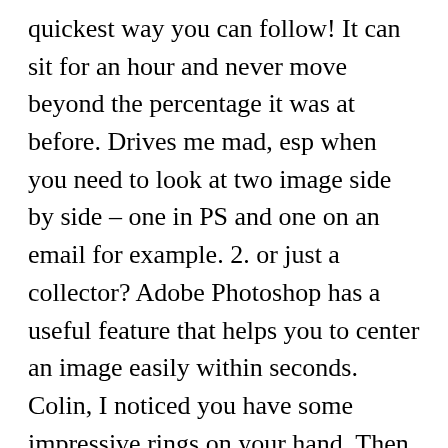quickest way you can follow! It can sit for an hour and never move beyond the percentage it was at before. Drives me mad, esp when you need to look at two image side by side – one in PS and one on an email for example. 2. or just a collector? Adobe Photoshop has a useful feature that helps you to center an image easily within seconds. Colin, I noticed you have some impressive rings on your hand. Then I tried one of the tree shapes, packaged with 2020: the dead pine. Experiment with both by converting the file to get the results you want. I imagine there is a setting somewhere but I cannot find it. The layers are on and thawed in the viewport on the sheet, but do not show up. For